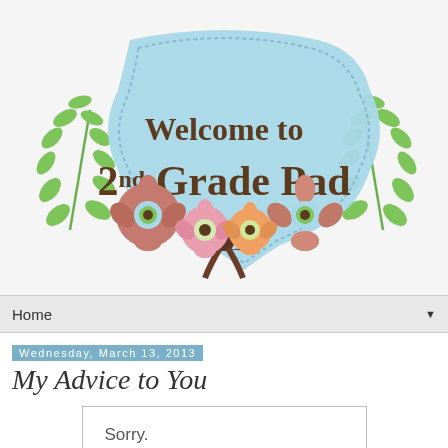[Figure (illustration): Decorative blog header banner with light blue ornate frame reading 'Welcome to 2nd Grade Pad', flanked by green leaf branches and colorful daisy flowers, with a brown polka-dot bow at the bottom center.]
Home
Wednesday, March 13, 2013
My Advice to You
[Figure (illustration): Image placeholder box with text: Sorry. This image is currently]
Sorry.
This image is currently